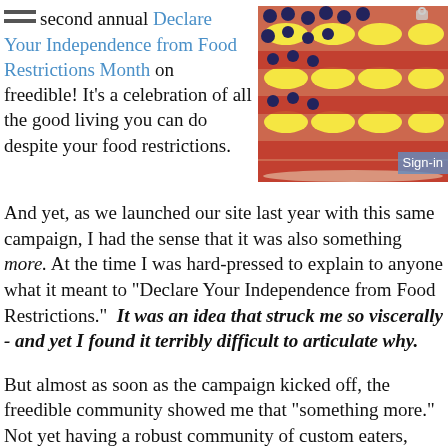second annual Declare Your Independence from Food Restrictions Month on freedible! It's a celebration of all the good living you can do despite your food restrictions.
[Figure (photo): Photo of food arranged to look like an American flag using bananas, blueberries, and strawberry jam on toast. A 'Sign-in' badge overlays the bottom right corner.]
And yet, as we launched our site last year with this same campaign, I had the sense that it was also something more. At the time I was hard-pressed to explain to anyone what it meant to 'Declare Your Independence from Food Restrictions.'  It was an idea that struck me so viscerally - and yet I found it terribly difficult to articulate why.
But almost as soon as the campaign kicked off, the freedible community showed me that 'something more.' Not yet having a robust community of custom eaters, bloggers and brands, or all the rich and beautiful content we do today, we started more simply, inviting our members to post photos of